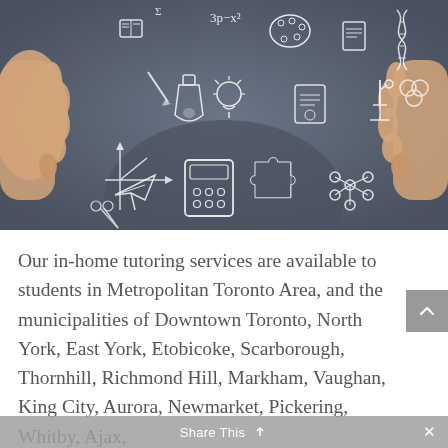[Figure (photo): Photo of a person with outstretched hands surrounded by white chalk-drawn education icons on a dark blue-grey background: math formulas, science flask, light bulb, paint palette, calculator, puzzle pieces, molecule, DNA helix, microscope, paper plane, book, and other academic symbols]
Our in-home tutoring services are available to students in Metropolitan Toronto Area, and the municipalities of Downtown Toronto, North York, East York, Etobicoke, Scarborough, Thornhill, Richmond Hill, Markham, Vaughan, King City, Aurora, Newmarket, Pickering, Whitby, Ajax, Oshawa, Brampton, and Mississauga. In addition...